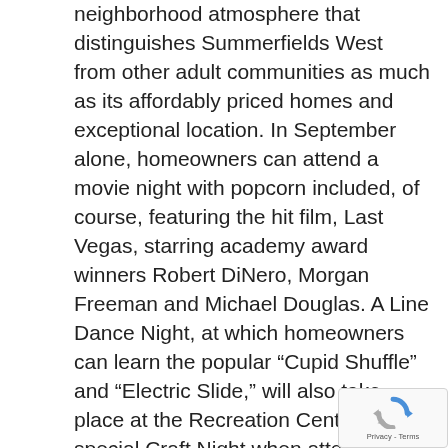neighborhood atmosphere that distinguishes Summerfields West from other adult communities as much as its affordably priced homes and exceptional location. In September alone, homeowners can attend a movie night with popcorn included, of course, featuring the hit film, Last Vegas, starring academy award winners Robert DiNero, Morgan Freeman and Michael Douglas. A Line Dance Night, at which homeowners can learn the popular “Cupid Shuffle” and “Electric Slide,” will also take place at the Recreation Center. A special Craft Night when attendees can make a fall wreath and burlap wall piece for their homes is chance to get homeowners’ creative juices flowing.

Trudi Clark, the full-time Activities Director at Summerfields West, explained how the opening of
[Figure (other): reCAPTCHA badge with Privacy - Terms text]